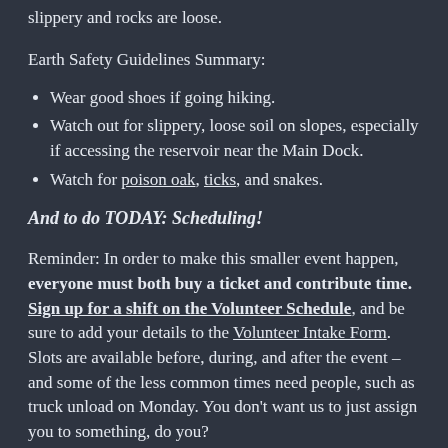slippery and rocks are loose.
Earth Safety Guidelines Summary:
Wear good shoes if going hiking.
Watch out for slippery, loose soil on slopes, especially if accessing the reservoir near the Main Dock.
Watch for poison oak, ticks, and snakes.
And to do TODAY: Scheduling!
Reminder: In order to make this smaller event happen, everyone must both buy a ticket and contribute time. Sign up for a shift on the Volunteer Schedule, and be sure to add your details to the Volunteer Intake Form. Slots are available before, during, and after the event – and some of the less common times need people, such as truck unload on Monday. You don't want us to just assign you to something, do you?